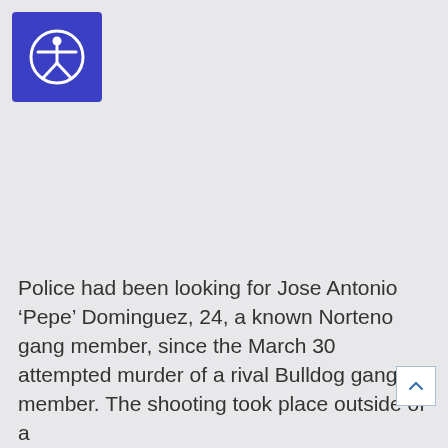[Figure (logo): Accessibility icon button — white person with arms and legs spread inside a circle on a blue square background]
Police had been looking for Jose Antonio ‘Pepe’ Dominguez, 24, a known Norteno gang member, since the March 30 attempted murder of a rival Bulldog gang member. The shooting took place outside of a
[Figure (other): Back to top button with upward caret arrow, white background with light blue border]